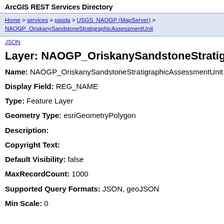ArcGIS REST Services Directory
Home > services > pasda > USGS_NAOGP (MapServer) > NAOGP_OriskanySandstoneStratigraphicAssessmentUnit
JSON
Layer: NAOGP_OriskanySandstoneStratigraph...
Name: NAOGP_OriskanySandstoneStratigraphicAssessmentUnit
Display Field: REG_NAME
Type: Feature Layer
Geometry Type: esriGeometryPolygon
Description:
Copyright Text:
Default Visibility: false
MaxRecordCount: 1000
Supported Query Formats: JSON, geoJSON
Min Scale: 0